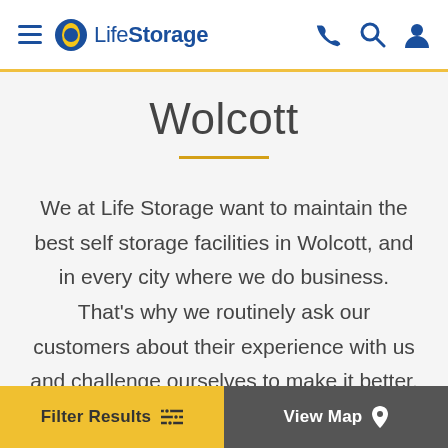Life Storage — navigation header with hamburger menu, phone, search, and account icons
Wolcott
We at Life Storage want to maintain the best self storage facilities in Wolcott, and in every city where we do business. That's why we routinely ask our customers about their experience with us and challenge ourselves to make it better. You can read
Filter Results | View Map